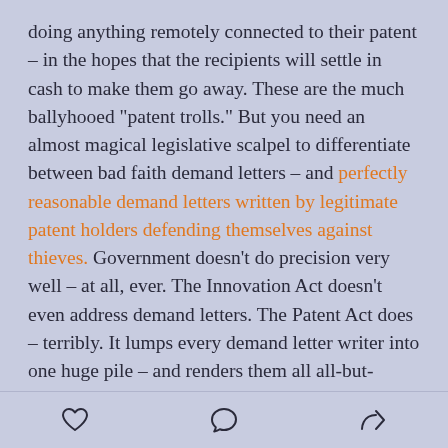doing anything remotely connected to their patent – in the hopes that the recipients will settle in cash to make them go away. These are the much ballyhooed “patent trolls.” But you need an almost magical legislative scalpel to differentiate between bad faith demand letters – and perfectly reasonable demand letters written by legitimate patent holders defending themselves against thieves. Government doesn’t do precision very well – at all, ever. The Innovation Act doesn’t even address demand letters. The Patent Act does – terribly. It lumps every demand letter writer into one huge pile – and renders them all all-but-powerless to
[heart icon] [comment icon] [share icon]